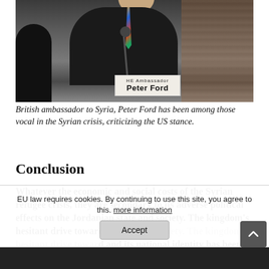[Figure (photo): Photograph of British ambassador Peter Ford seated at a conference table, wearing a dark suit and colorful tie, with a nameplate reading 'HE Ambassador Peter Ford' visible in the foreground.]
British ambassador to Syria, Peter Ford has been among those vocal in the Syrian crisis, criticizing the US stance.
Conclusion
Whatever the economic and social costs of the Syrian refugee crisis, they are secondary to its adverse political effects on the Jordanian state and society. The kingdom's hesitant drive toward reform and society. The kingdom's hesitant drive toward reform and its national identity has been eroded.